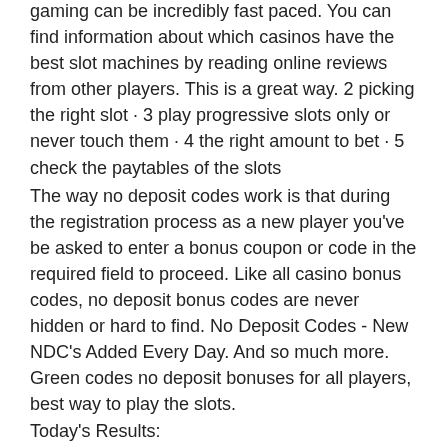gaming can be incredibly fast paced. You can find information about which casinos have the best slot machines by reading online reviews from other players. This is a great way. 2 picking the right slot · 3 play progressive slots only or never touch them · 4 the right amount to bet · 5 check the paytables of the slots
The way no deposit codes work is that during the registration process as a new player you've be asked to enter a bonus coupon or code in the required field to proceed. Like all casino bonus codes, no deposit bonus codes are never hidden or hard to find. No Deposit Codes - New NDC's Added Every Day. And so much more. Green codes no deposit bonuses for all players, best way to play the slots.
Today's Results:
Forbidden Chamber - 43.6 bch
Pharaos Riches Golden Nights - 46.3 btc